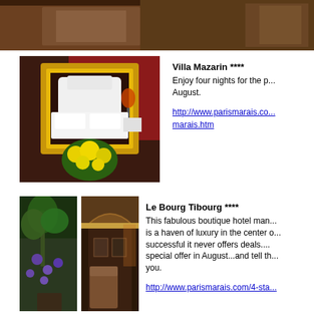[Figure (photo): Top banner photo of a hotel room interior, warm tones]
[Figure (photo): Hotel room with ornate gold-framed mirror, white bedding, and yellow roses]
Villa Mazarin ****
Enjoy four nights for the price of three at Villa Mazarin in August.

http://www.parismarais.com/...marais.htm
[Figure (photo): Two hotel photos side by side: lush tropical plants with orchids, and an ornate hotel corridor/room interior]
Le Bourg Tibourg ****
This fabulous boutique hotel managed by the Costes family is a haven of luxury in the center of the Marais. So successful it never offers deals....We got them a special offer in August...and tell them Paris Marais sent you.

http://www.parismarais.com/4-sta...